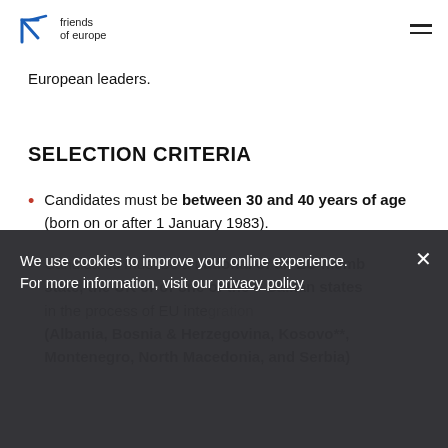friends of europe
European leaders.
SELECTION CRITERIA
Candidates must be between 30 and 40 years of age (born on or after 1 January 1983).
Candidates must be a national of an EU member state, the UK or of one of the 6 Balkan states in the process of EU integration (Albania, Bosnia & Herzegovina, Kosovo**, Montenegro, North Macedonia, and Serbia)
We use cookies to improve your online experience. For more information, visit our privacy policy